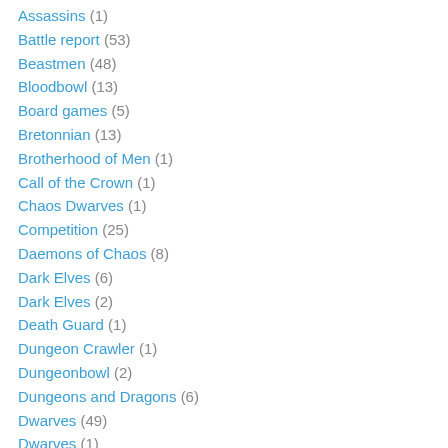Assassins (1)
Battle report (53)
Beastmen (48)
Bloodbowl (13)
Board games (5)
Bretonnian (13)
Brotherhood of Men (1)
Call of the Crown (1)
Chaos Dwarves (1)
Competition (25)
Daemons of Chaos (8)
Dark Elves (6)
Dark Elves (2)
Death Guard (1)
Dungeon Crawler (1)
Dungeonbowl (2)
Dungeons and Dragons (6)
Dwarves (49)
Dwarves (1)
Empire (13)